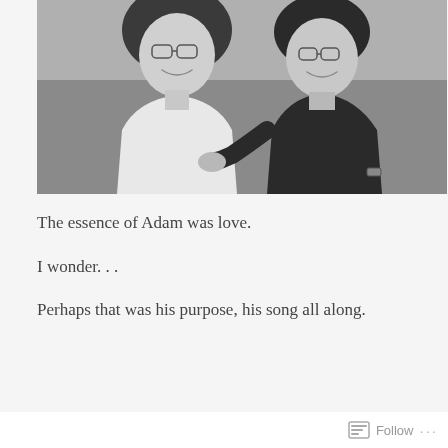[Figure (photo): Black and white photograph of two women sitting together, both wearing glasses and smiling. The woman on the left has curly hair and wears a white shirt. The woman on the right wears a black sleeveless top and has shorter hair. They are seated on a patterned couch or chair.]
The essence of Adam was love.
I wonder. . .
Perhaps that was his purpose, his song all along.
Follow ···